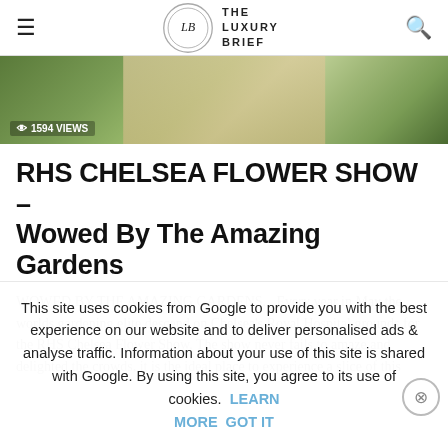THE LUXURY BRIEF
[Figure (photo): Garden path at Chelsea Flower Show with lush green and flowering plants on either side; overlay shows '1594 VIEWS']
RHS CHELSEA FLOWER SHOW – Wowed By The Amazing Gardens
WOWED BY THE AMAZING GARDENS.   Every year in May the worlds gardening elite descend on Chelsea's Royal Hospital grounds for the RHS Chelsea Flower Show. The show never fails to amaze and delighted the crowds, it is the ideal place to experience a slice of this
This site uses cookies from Google to provide you with the best experience on our website and to deliver personalised ads & analyse traffic. Information about your use of this site is shared with Google. By using this site, you agree to its use of cookies.  LEARN MORE  GOT IT